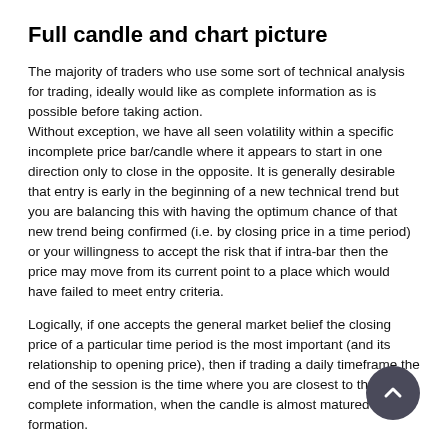Full candle and chart picture
The majority of traders who use some sort of technical analysis for trading, ideally would like as complete information as is possible before taking action.
Without exception, we have all seen volatility within a specific incomplete price bar/candle where it appears to start in one direction only to close in the opposite. It is generally desirable that entry is early in the beginning of a new technical trend but you are balancing this with having the optimum chance of that new trend being confirmed (i.e. by closing price in a time period) or your willingness to accept the risk that if intra-bar then the price may move from its current point to a place which would have failed to meet entry criteria.
Logically, if one accepts the general market belief the closing price of a particular time period is the most important (and its relationship to opening price), then if trading a daily timeframe the end of the session is the time where you are closest to that complete information, when the candle is almost matured in formation.